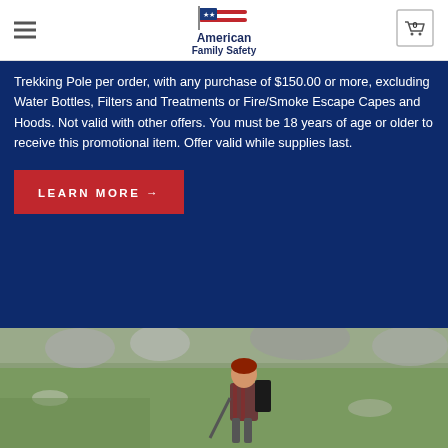American Family Safety — navigation header with hamburger menu and cart
Trekking Pole per order, with any purchase of $150.00 or more, excluding Water Bottles, Filters and Treatments or Fire/Smoke Escape Capes and Hoods. Not valid with other offers. You must be 18 years of age or older to receive this promotional item. Offer valid while supplies last.
LEARN MORE →
[Figure (photo): Woman hiker with red hair smiling, wearing plaid shirt and backpack, holding trekking pole, on a rocky mountain landscape]